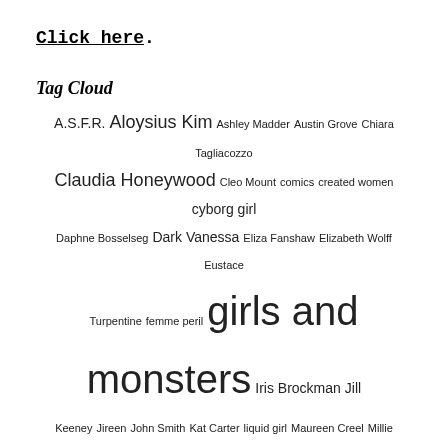Click here.
Tag Cloud
A.S.F.R. Aloysius Kim Ashley Madder Austin Grove Chiara Tagliacozzo Claudia Honeywood Cleo Mount comics created women cyborg girl Daphne Bosselseg Dark Vanessa Eliza Fanshaw Elizabeth Wolff Eustace Turpentine femme peril girls and monsters Iris Brockman Jill Keeney Jireen John Smith Kat Carter liquid girl Maureen Creel Millie Newman Minnow monster girl movies nonspoiler pulp art Research by Bacchus sex machines sexy robots space girl space girls State Home for Wayward Girls Taylor Chase tentacle sex tentacles tube girl tube girls Viz weird movies William Newman woman and robot